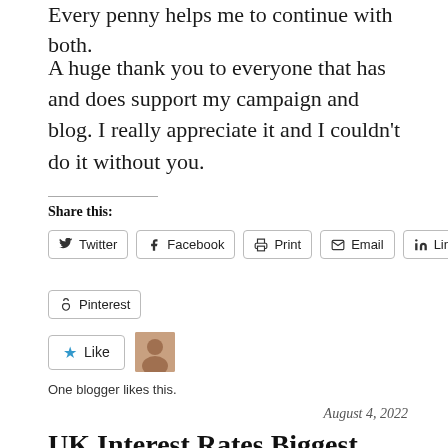Every penny helps me to continue with both.
A huge thank you to everyone that has and does support my campaign and blog. I really appreciate it and I couldn't do it without you.
Share this:
Twitter Facebook Print Email LinkedIn Pinterest
Like
One blogger likes this.
August 4, 2022
UK Interest Rates Biggest